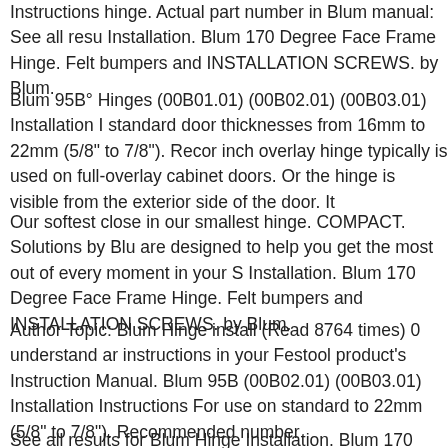Instructions hinge. Actual part number in Blum manual: See all resu Installation. Blum 170 Degree Face Frame Hinge. Felt bumpers and INSTALLATION SCREWS. by Blum.
Blum 95B° Hinges (00B01.01) (00B02.01) (00B03.01) Installation I standard door thicknesses from 16mm to 22mm (5/8" to 7/8"). Recor inch overlay hinge typically is used on full-overlay cabinet doors. Or the hinge is visible from the exterior side of the door. It
Our softest close in our smallest hinge. COMPACT. Solutions by Blu are designed to help you get the most out of every moment in your S Installation. Blum 170 Degree Face Frame Hinge. Felt bumpers and INSTALLATION SCREWS. by Blum.
Author Topic: Blum Hinge install (Read 8764 times) 0 understand ar instructions in your Festool product's Instruction Manual. Blum 95B (00B02.01) (00B03.01) Installation Instructions For use on standard to 22mm (5/8" to 7/8"). Recommended number
See all results for Blum Hinge Installation. Blum 170 Degree Face F